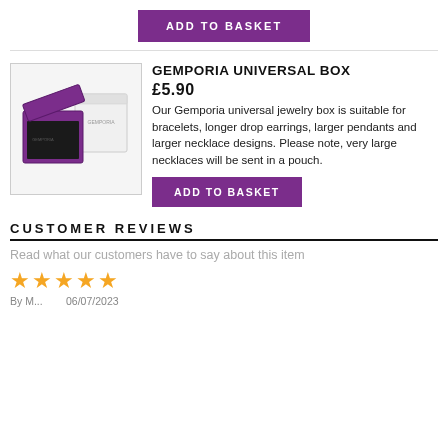[Figure (other): Purple 'ADD TO BASKET' button at top of page]
[Figure (photo): Two jewelry boxes: an open purple Gemporia box showing black velvet interior, and a closed white Gemporia box]
GEMPORIA UNIVERSAL BOX £5.90
Our Gemporia universal jewelry box is suitable for bracelets, longer drop earrings, larger pendants and larger necklace designs. Please note, very large necklaces will be sent in a pouch.
[Figure (other): Purple 'ADD TO BASKET' button]
CUSTOMER REVIEWS
Read what our customers have to say about this item
[Figure (other): Five gold star rating icons]
By M...        06/07/2023